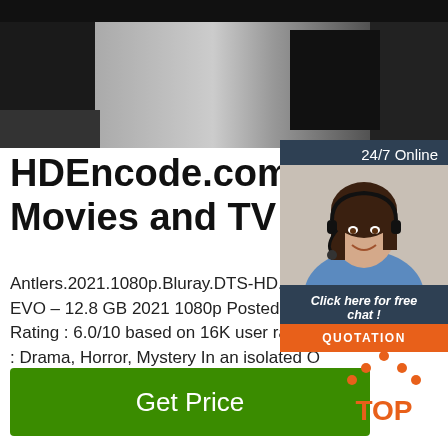[Figure (photo): Top portion showing a dark TV/monitor setup, metallic surface, partial screenshot of HDEncode.com page]
HDEncode.com – Dow Movies and TV Shows
Antlers.2021.1080p.Bluray.DTS-HD.MA. EVO – 12.8 GB 2021 1080p Posted 4 ho Rating : 6.0/10 based on 16K user rating : Drama, Horror, Mystery In an isolated O town, a middle-school teacher and her s
[Figure (screenshot): Chat widget overlay: '24/7 Online' header, photo of woman with headset, 'Click here for free chat!' text, orange QUOTATION button]
[Figure (other): Green 'Get Price' button]
[Figure (logo): TOP logo in orange with up-arrow dots above the text]